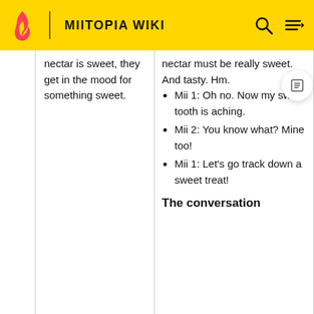MIITOPIA WIKI
nectar is sweet, they get in the mood for something sweet.
nectar must be really sweet. And tasty. Hm.
Mii 1: Oh no. Now my sweet tooth is aching.
Mii 2: You know what? Mine too!
Mii 1: Let's go track down a sweet treat!
The conversation